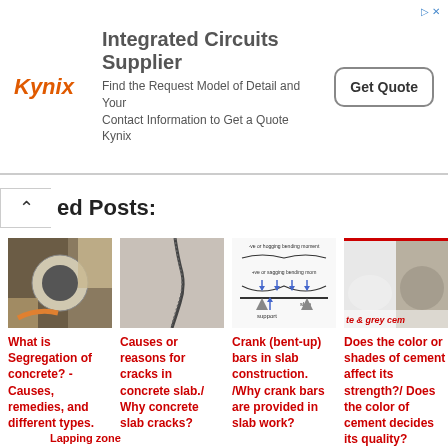[Figure (other): Kynix advertisement banner: Integrated Circuits Supplier - Find the Request Model of Detail and Your Contact Information to Get a Quote Kynix. Get Quote button.]
ed Posts:
[Figure (photo): Photo of concrete segregation - construction worker with concrete pump]
What is Segregation of concrete? - Causes, remedies, and different types.
[Figure (photo): Photo of cracks in concrete slab - diagonal crack on concrete surface]
Causes or reasons for cracks in concrete slab./ Why concrete slab cracks?
[Figure (engineering-diagram): Diagram of crank (bent-up) bars in slab construction showing hogging and sagging bending moments, support and slab labels]
Crank (bent-up) bars in slab construction. /Why crank bars are provided in slab work?
[Figure (photo): Photo showing white and grey cement powder with red label text 'te & grey cem']
Does the color or shades of cement affect its strength?/ Does the color of cement decides its quality?
Lapping zone